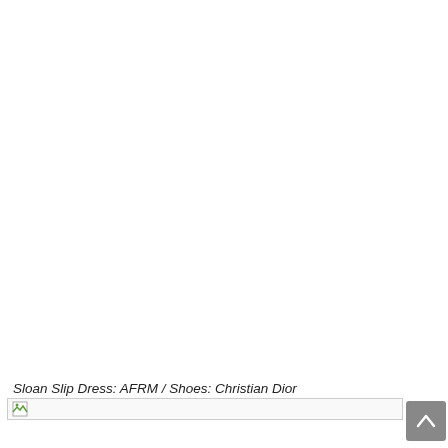[Figure (photo): Large blank/white area where a fashion photo would appear — image failed to load. Caption below reads: Sloan Slip Dress: AFRM / Shoes: Christian Dior]
Sloan Slip Dress: AFRM / Shoes: Christian Dior